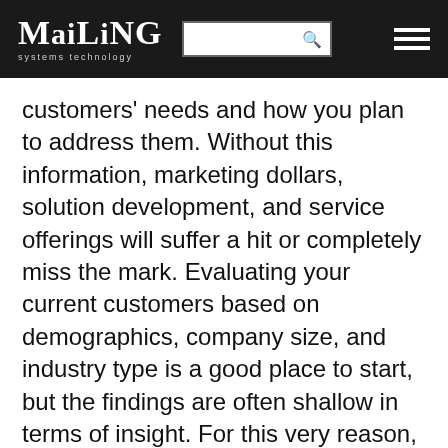Mailing systems technology
customers' needs and how you plan to address them. Without this information, marketing dollars, solution development, and service offerings will suffer a hit or completely miss the mark. Evaluating your current customers based on demographics, company size, and industry type is a good place to start, but the findings are often shallow in terms of insight. For this very reason, the practice of developing customer personas is growing in popularity. According to the Marketing Insider Group, 93% of companies that exceed lead and revenue goals segment their databases by buyer